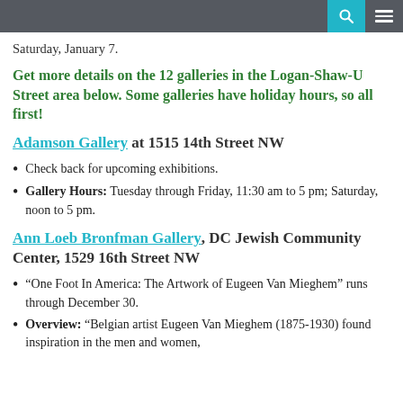[navigation bar with search and menu icons]
Saturday, January 7.
Get more details on the 12 galleries in the Logan-Shaw-U Street area below. Some galleries have holiday hours, so all first!
Adamson Gallery at 1515 14th Street NW
Check back for upcoming exhibitions.
Gallery Hours: Tuesday through Friday, 11:30 am to 5 pm; Saturday, noon to 5 pm.
Ann Loeb Bronfman Gallery, DC Jewish Community Center, 1529 16th Street NW
“One Foot In America: The Artwork of Eugeen Van Mieghem” runs through December 30.
Overview: “Belgian artist Eugeen Van Mieghem (1875-1930) found inspiration in the men and women,